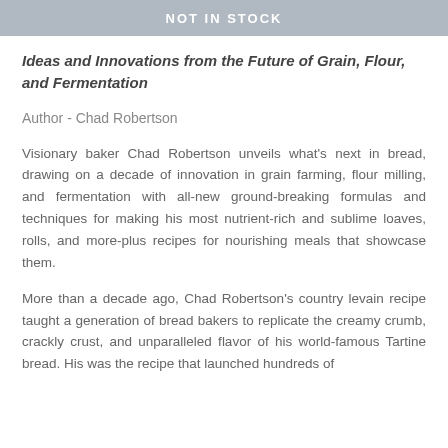NOT IN STOCK
Ideas and Innovations from the Future of Grain, Flour, and Fermentation
Author - Chad Robertson
Visionary baker Chad Robertson unveils what's next in bread, drawing on a decade of innovation in grain farming, flour milling, and fermentation with all-new ground-breaking formulas and techniques for making his most nutrient-rich and sublime loaves, rolls, and more-plus recipes for nourishing meals that showcase them.
More than a decade ago, Chad Robertson's country levain recipe taught a generation of bread bakers to replicate the creamy crumb, crackly crust, and unparalleled flavor of his world-famous Tartine bread. His was the recipe that launched hundreds of